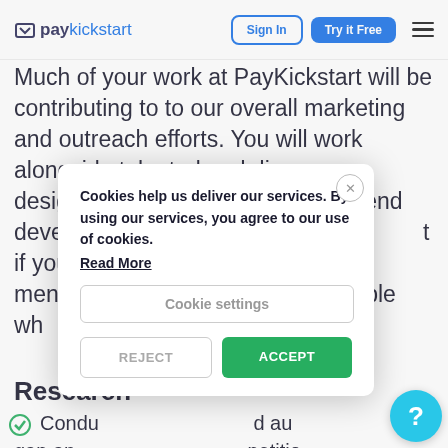PayKickstart — Sign In | Try it Free
Much of your work at PayKickstart will be contributing to to our overall marketing and outreach efforts. You will work alongside talented and diverse designers, digital strategists, front-end developers, and programmers. But if you don't have experience we mention. We even people who their craft every day.
Research
Conduct and audit competitive
[Figure (screenshot): Cookie consent modal dialog with text 'Cookies help us deliver our services. By using our services, you agree to our use of cookies.' and a 'Read More' link, a 'Cookie settings' button, and two action buttons 'REJECT' and 'ACCEPT'.]